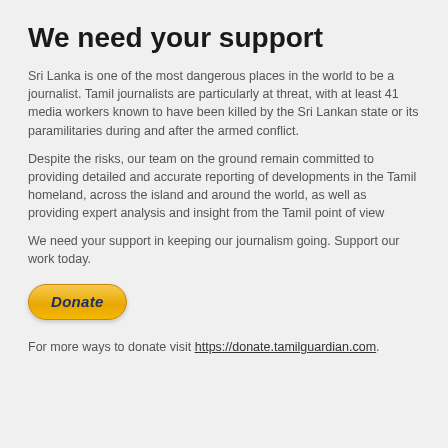We need your support
Sri Lanka is one of the most dangerous places in the world to be a journalist. Tamil journalists are particularly at threat, with at least 41 media workers known to have been killed by the Sri Lankan state or its paramilitaries during and after the armed conflict.
Despite the risks, our team on the ground remain committed to providing detailed and accurate reporting of developments in the Tamil homeland, across the island and around the world, as well as providing expert analysis and insight from the Tamil point of view
We need your support in keeping our journalism going. Support our work today.
[Figure (other): PayPal Donate button with gold/yellow gradient and rounded rectangle shape, italic bold dark blue 'Donate' text]
For more ways to donate visit https://donate.tamilguardian.com.